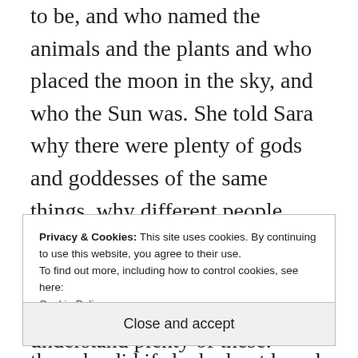to be, and who named the animals and the plants and who placed the moon in the sky, and who the Sun was. She told Sara why there were plenty of gods and goddesses of the same things, why different people spoke different tongues, and why they believed in different things. Sara, of course, didn't understand plenty of these. Sometimes, she would suggest the version she vaguely remembered
Privacy & Cookies: This site uses cookies. By continuing to use this website, you agree to their use.
To find out more, including how to control cookies, see here:
Cookie Policy
Close and accept
than she did if she had not heard